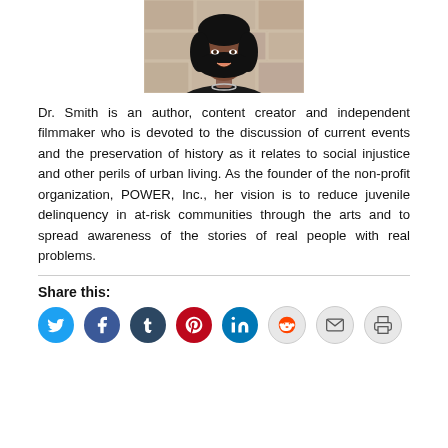[Figure (photo): Headshot photo of Dr. Smith, a woman with dark shoulder-length hair wearing a black outfit with a necklace, photographed against a light stone background.]
Dr. Smith is an author, content creator and independent filmmaker who is devoted to the discussion of current events and the preservation of history as it relates to social injustice and other perils of urban living. As the founder of the non-profit organization, POWER, Inc., her vision is to reduce juvenile delinquency in at-risk communities through the arts and to spread awareness of the stories of real people with real problems.
Share this: